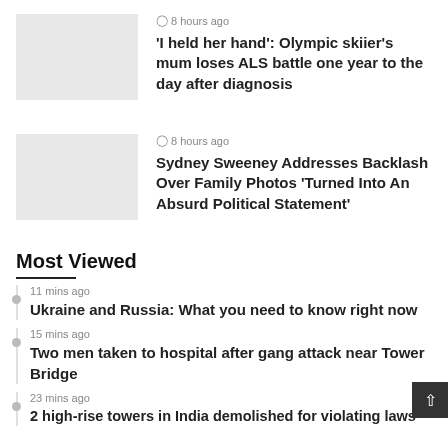[Figure (photo): Thumbnail image placeholder for article about Olympic skiier's mum]
8 hours ago
'I held her hand': Olympic skiier's mum loses ALS battle one year to the day after diagnosis
[Figure (photo): Thumbnail image placeholder for article about Sydney Sweeney]
8 hours ago
Sydney Sweeney Addresses Backlash Over Family Photos 'Turned Into An Absurd Political Statement'
Most Viewed
11 mins ago
Ukraine and Russia: What you need to know right now
15 mins ago
Two men taken to hospital after gang attack near Tower Bridge
23 mins ago
2 high-rise towers in India demolished for violating laws